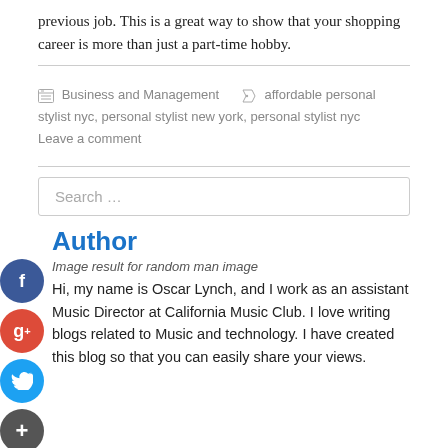previous job. This is a great way to show that your shopping career is more than just a part-time hobby.
Business and Management   affordable personal stylist nyc, personal stylist new york, personal stylist nyc   Leave a comment
Search …
Author
[Figure (photo): Image result for random man image]
Hi, my name is Oscar Lynch, and I work as an assistant Music Director at California Music Club. I love writing blogs related to Music and technology. I have created this blog so that you can easily share your views.